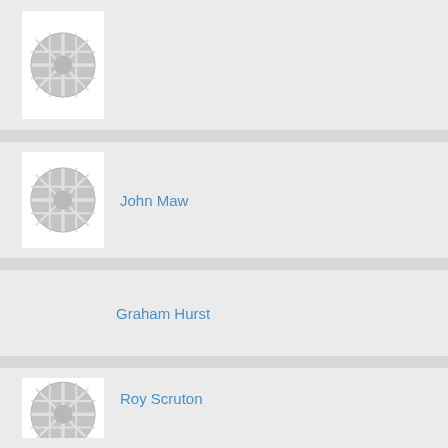[Figure (logo): Circular Union Jack style placeholder icon for unnamed person]
[Figure (logo): Circular Union Jack style placeholder icon for John Maw]
John Maw
Graham Hurst
[Figure (logo): Circular Union Jack style placeholder icon for Roy Scruton]
Roy Scruton
[Figure (logo): Circular Union Jack style placeholder icon for Graham Patrick Macdonald]
Graham Patrick Macdonald